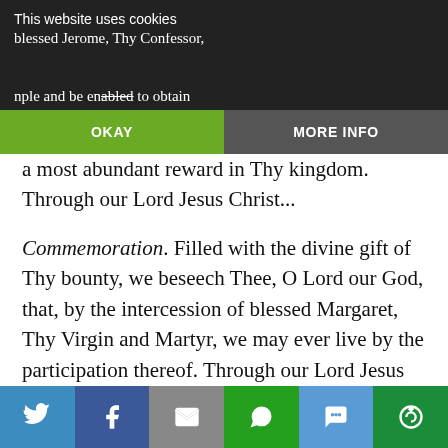Thee, O Lord, that we, who joyfully celebrate the annual memory of blessed Jerome, Thy Confessor,
This website uses cookies
nple and be enabled to obtain
OKAY
MORE INFO
a most abundant reward in Thy kingdom. Through our Lord Jesus Christ...
Commemoration. Filled with the divine gift of Thy bounty, we beseech Thee, O Lord our God, that, by the intercession of blessed Margaret, Thy Virgin and Martyr, we may ever live by the participation thereof. Through our Lord Jesus Christ ...
* * *
This proper Mass, like that of St. Camillus, was — need
[Figure (infographic): Social sharing bar at the bottom with icons for Twitter, Facebook, Email, WhatsApp, SMS, and More sharing options]